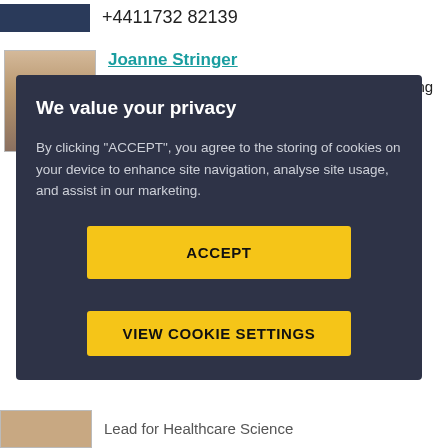+4411732 82139
Joanne Stringer
Course Manager of the Bar Professional Training Course (Part Time)
[Figure (other): Cookie consent overlay with dark background. Title: 'We value your privacy'. Body text: 'By clicking "ACCEPT", you agree to the storing of cookies on your device to enhance site navigation, analyse site usage, and assist in our marketing.' Two yellow buttons: 'ACCEPT' and 'VIEW COOKIE SETTINGS'.]
Lead for Healthcare Science